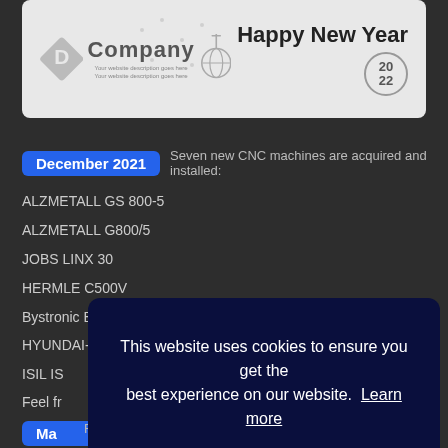[Figure (illustration): Happy New Year 2022 company greeting card with logo, ornaments, and stylized text on a light grey background.]
December 2021   Seven new CNC machines are acquired and installed:
ALZMETALL GS 800-5
ALZMETALL G800/5
JOBS LINX 30
HERMLE C500V
Bystronic ByVention
HYUNDAI-KIA SKT 250M
ISIL IS...
Feel fr...
[Figure (screenshot): Cookie consent popup overlay: 'This website uses cookies to ensure you get the best experience on our website. Learn more' with a yellow 'Got it!' button.]
Ma...
Feel fr...